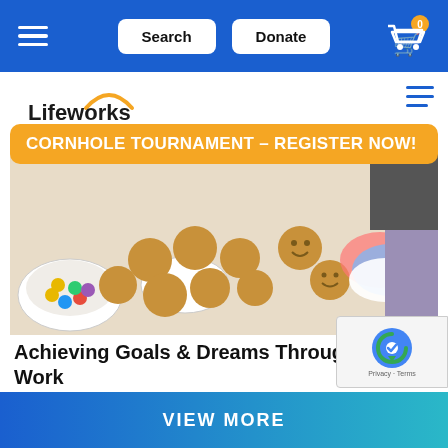Search | Donate | [Cart: 0]
[Figure (logo): Lifeworks logo with orange arc above text]
CORNHOLE TOURNAMENT - REGISTER NOW!
[Figure (photo): Photo of cookies and treats on a table with a person decorating]
Achieving Goals & Dreams Through Work
Lifeworks and its affiliate organization, The Arc of South Norfolk, have been heartened by recent headlines reporting an influx of…
VIEW MORE